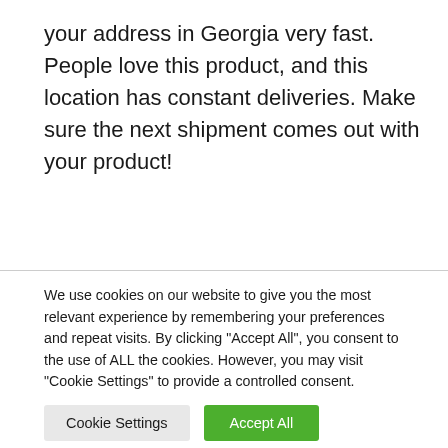your address in Georgia very fast. People love this product, and this location has constant deliveries. Make sure the next shipment comes out with your product!
[Figure (illustration): Partial illustration of a cartoon male avatar head showing brown hair and a skin-toned face, partially cut off at the bottom]
We use cookies on our website to give you the most relevant experience by remembering your preferences and repeat visits. By clicking "Accept All", you consent to the use of ALL the cookies. However, you may visit "Cookie Settings" to provide a controlled consent.